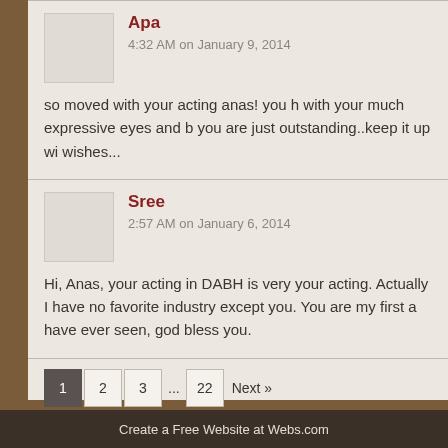Apa
4:32 AM on January 9, 2014
so moved with your acting anas! you h with your much expressive eyes and b you are just outstanding..keep it up wi wishes...
Sree
2:57 AM on January 6, 2014
Hi, Anas, your acting in DABH is very your acting. Actually I have no favorite industry except you. You are my first a have ever seen, god bless you.
Create a Free Website at Webs.com